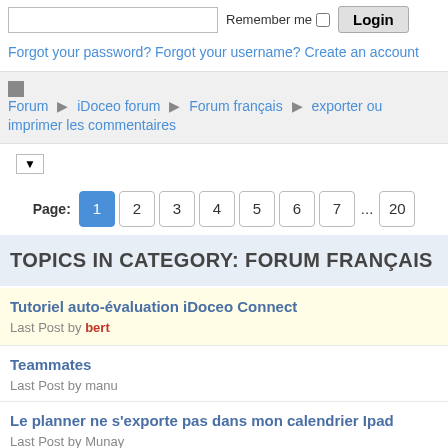Remember me  Login
Forgot your password? Forgot your username? Create an account
Forum ▶ iDoceo forum ▶ Forum français ▶ exporter ou imprimer les commentaires
Page: 1 2 3 4 5 6 7 ... 20
TOPICS IN CATEGORY: FORUM FRANÇAIS
Tutoriel auto-évaluation iDoceo Connect
Last Post by bert
Teammates
Last Post by manu
Le planner ne s'exporte pas dans mon calendrier Ipad
Last Post by Munay
Imprimer des rubriques sur plusieurs pages